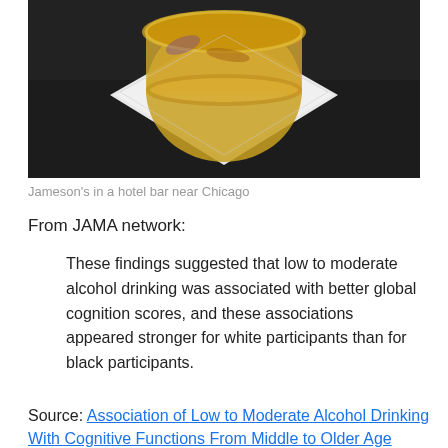[Figure (photo): A glass of Jameson whiskey on a white napkin/coaster on a dark bar surface, shot from above at an angle, golden amber liquid visible in the glass.]
Jameson's in a hotel bar near Chicago
From JAMA network:
These findings suggested that low to moderate alcohol drinking was associated with better global cognition scores, and these associations appeared stronger for white participants than for black participants.
Source: Association of Low to Moderate Alcohol Drinking With Cognitive Functions From Middle to Older Age